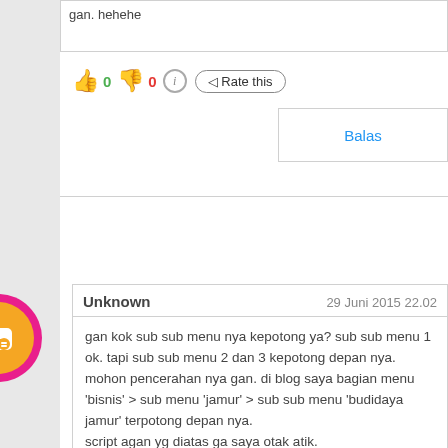gan. hehehe
[Figure (screenshot): Thumbs up emoji, 0, thumbs down emoji, 0, info icon, Rate this button]
Balas
Unknown   29 Juni 2015 22.02

gan kok sub sub menu nya kepotong ya? sub sub menu 1 ok. tapi sub sub menu 2 dan 3 kepotong depan nya. mohon pencerahan nya gan. di blog saya bagian menu 'bisnis' > sub menu 'jamur' > sub sub menu 'budidaya jamur' terpotong depan nya.
script agan yg diatas ga saya otak atik.